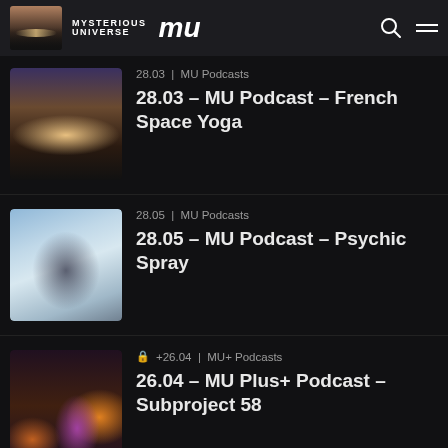Mysterious Universe
28.03 | MU Podcasts
28.03 – MU Podcast – French Space Yoga
28.05 | MU Podcasts
28.05 – MU Podcast – Psychic Spray
+26.04 | MU+ Podcasts
26.04 – MU Plus+ Podcast – Subproject 58
28.02 | MU Podcasts
28.02 – MU Podcast – Acoustic Mantis Mind